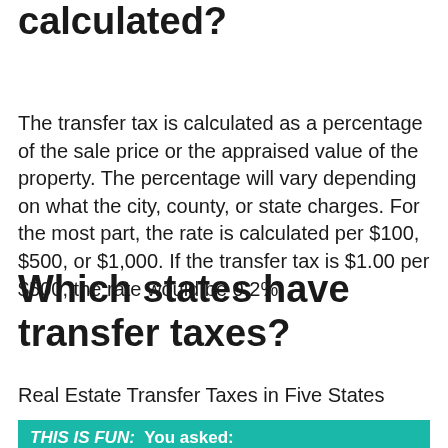calculated?
The transfer tax is calculated as a percentage of the sale price or the appraised value of the property. The percentage will vary depending on what the city, county, or state charges. For the most part, the rate is calculated per $100, $500, or $1,000. If the transfer tax is $1.00 per $500, the rate would be 0.2%.
Which states have transfer taxes?
Real Estate Transfer Taxes in Five States
THIS IS FUN:  You asked: